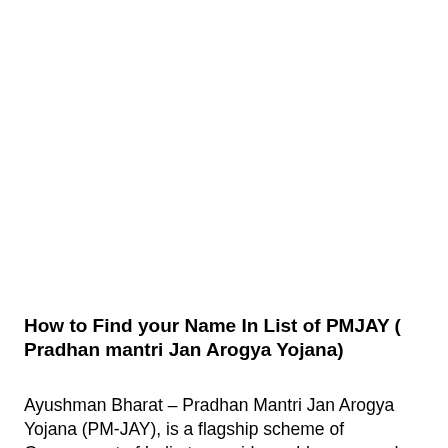How to Find your Name In List of PMJAY ( Pradhan mantri Jan Arogya Yojana)
Ayushman Bharat – Pradhan Mantri Jan Arogya Yojana (PM-JAY), is a flagship scheme of Government of India to provide cashless secondary and tertiary care treatment from the